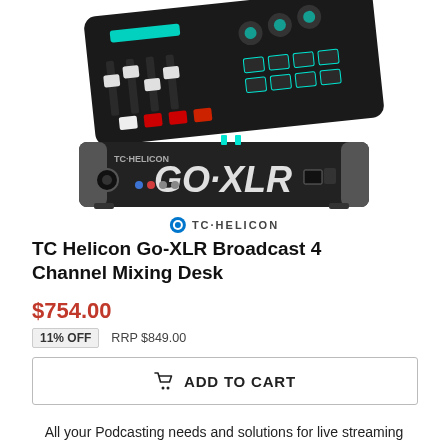[Figure (photo): TC Helicon Go-XLR mixing desk shown from top angle and rear panel angle, black device with teal/cyan LED accents, faders, knobs, and buttons]
TC HELICON
TC Helicon Go-XLR Broadcast 4 Channel Mixing Desk
$754.00
11% OFF    RRP $849.00
ADD TO CART
All your Podcasting needs and solutions for live streaming